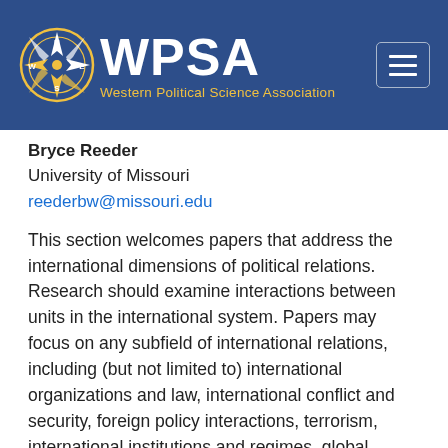[Figure (logo): WPSA Western Political Science Association logo with compass rose and text on dark blue background with hamburger menu button]
Bryce Reeder
University of Missouri
reederbw@missouri.edu
This section welcomes papers that address the international dimensions of political relations. Research should examine interactions between units in the international system. Papers may focus on any subfield of international relations, including (but not limited to) international organizations and law, international conflict and security, foreign policy interactions, terrorism, international institutions and regimes, global environmental relations, technology, and international political economy. A broad mix of papers is encouraged, including a variety of methods and theoretical perspectives. For this meeting, we particularly welcome